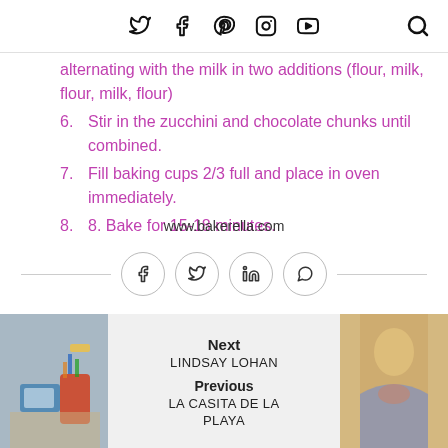Twitter Facebook Pinterest Instagram YouTube [Search]
alternating with the milk in two additions (flour, milk, flour, milk, flour)
6. Stir in the zucchini and chocolate chunks until combined.
7. Fill baking cups 2/3 full and place in oven immediately.
8. 8. Bake for 15-18 minutes.
www.bakerella.com
[Figure (infographic): Social share buttons: Facebook, Twitter, LinkedIn, WhatsApp, with horizontal rules on either side]
Next LINDSAY LOHAN Previous LA CASITA DE LA PLAYA